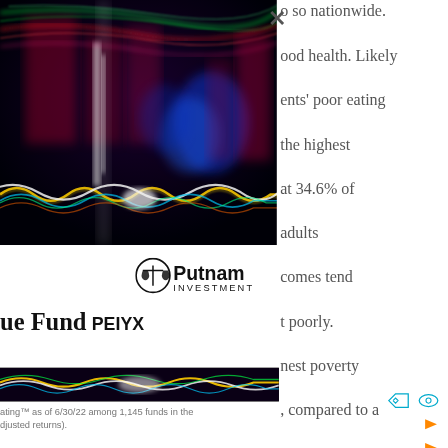[Figure (photo): Abstract long-exposure light photography showing colorful streaks of light in red, green, blue, yellow, and white against a dark background, resembling fiber optic cables or neon light trails.]
o so nationwide.
ood health. Likely
ents' poor eating
the highest
at 34.6% of
adults
comes tend
t poorly.
nest poverty
, compared to a
poverty also
[Figure (logo): Putnam Investments logo with scale/balance icon and bold 'Putnam INVESTMENTS' text]
ue Fund PEIYX
ating™ as of 6/30/22 among 1,145 funds in the
djusted returns).